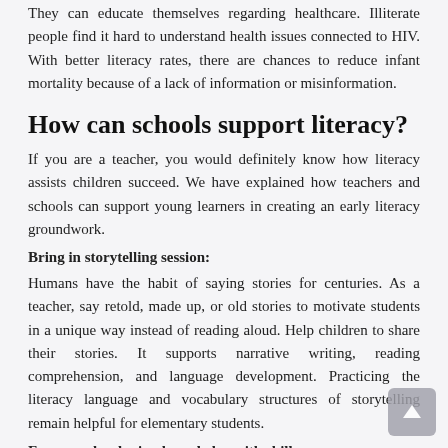They can educate themselves regarding healthcare. Illiterate people find it hard to understand health issues connected to HIV. With better literacy rates, there are chances to reduce infant mortality because of a lack of information or misinformation.
How can schools support literacy?
If you are a teacher, you would definitely know how literacy assists children succeed. We have explained how teachers and schools can support young learners in creating an early literacy groundwork.
Bring in storytelling session:
Humans have the habit of saying stories for centuries. As a teacher, say retold, made up, or old stories to motivate students in a unique way instead of reading aloud. Help children to share their stories. It supports narrative writing, reading comprehension, and language development. Practicing the literacy language and vocabulary structures of storytelling remain helpful for elementary students.
Focus on developing knowledge with skills: